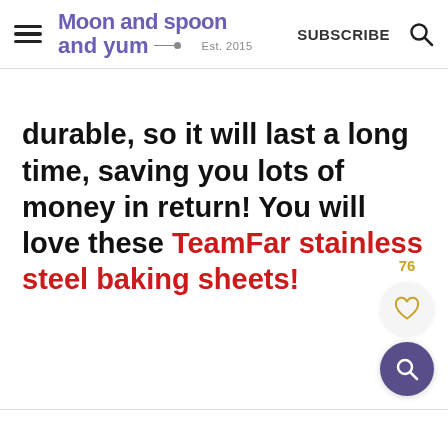Moon and spoon and yum — Est. 2015 | SUBSCRIBE
durable, so it will last a long time, saving you lots of money in return! You will love these TeamFar stainless steel baking sheets!